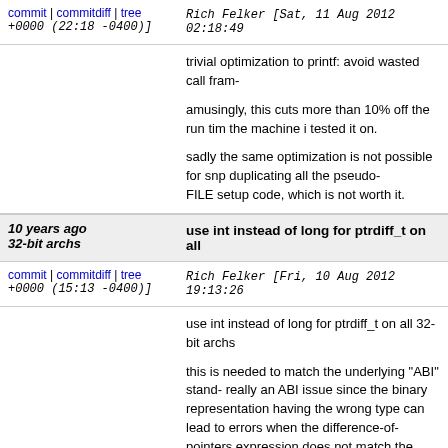commit | commitdiff | tree   Rich Felker [Sat, 11 Aug 2012 02:18:49 +0000 (22:18 -0400)]
trivial optimization to printf: avoid wasted call fram-

amusingly, this cuts more than 10% off the run tim the machine i tested it on.

sadly the same optimization is not possible for snp duplicating all the pseudo-
FILE setup code, which is not worth it.
10 years ago 32-bit archs   use int instead of long for ptrdiff_t on all
commit | commitdiff | tree   Rich Felker [Fri, 10 Aug 2012 19:13:26 +0000 (15:13 -0400)]
use int instead of long for ptrdiff_t on all 32-bit archs

this is needed to match the underlying "ABI" stand- really an ABI issue since the binary representation having the wrong type can lead to errors when the difference-of-
pointers expression does not match the defined ty- ptrdiff_t. most of the problems affect C++, not C.
10 years ago   fix incorrect ptrdiff_t type on mips